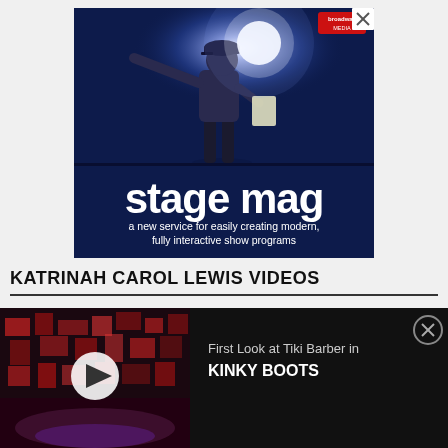[Figure (photo): Stage Mag advertisement banner. Dark navy blue background with a person on stage holding papers and reaching out under a spotlight. Text reads 'stage mag' in large white bold text and 'a new service for easily creating modern, fully interactive show programs' below. Broadway Media logo in top right corner. Close/X button in top right.]
KATRINAH CAROL LEWIS VIDEOS
[Figure (photo): Video thumbnail showing a dark theater stage with red and black scenic elements. A play button (white triangle in white circle) is overlaid. To the right, text reads 'First Look at Tiki Barber in KINKY BOOTS' with a close/X button in a circle.]